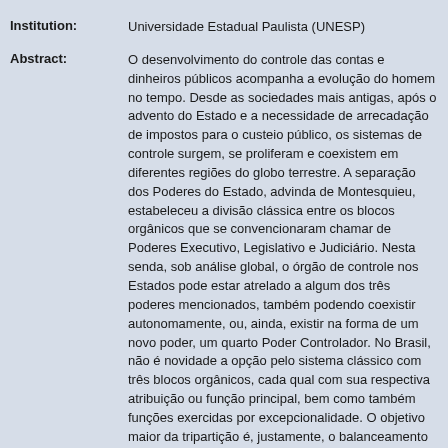Institution: Universidade Estadual Paulista (UNESP)
Abstract: O desenvolvimento do controle das contas e dinheiros públicos acompanha a evolução do homem no tempo. Desde as sociedades mais antigas, após o advento do Estado e a necessidade de arrecadação de impostos para o custeio público, os sistemas de controle surgem, se proliferam e coexistem em diferentes regiões do globo terrestre. A separação dos Poderes do Estado, advinda de Montesquieu, estabeleceu a divisão clássica entre os blocos orgânicos que se convencionaram chamar de Poderes Executivo, Legislativo e Judiciário. Nesta senda, sob análise global, o órgão de controle nos Estados pode estar atrelado a algum dos três poderes mencionados, também podendo coexistir autonomamente, ou, ainda, existir na forma de um novo poder, um quarto Poder Controlador. No Brasil, não é novidade a opção pelo sistema clássico com três blocos orgânicos, cada qual com sua respectiva atribuição ou função principal, bem como também funções exercidas por excepcionalidade. O objetivo maior da tripartição é, justamente, o balanceamento e controle dos Poderes, impondo freios e contrapesos, sistema elucidado pelos Federalistas norte-americanos. Destarte, desde as primeiras normas acerca do órgão de controle, chamados no Brasil de Tribunais de Contas, inúmeras duvidas foram surgindo, parte destas por questões do vocábulo